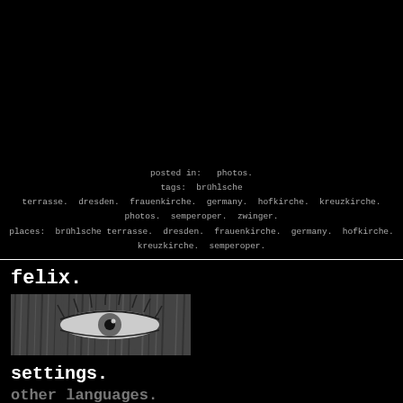posted in:  photos.
tags:  brühlsche terrasse.  dresden.  frauenkirche.  germany.  hofkirche.  kreuzkirche.  photos.  semperoper.  zwinger.
places:  brühlsche terrasse.  dresden.  frauenkirche.  germany.  hofkirche.  kreuzkirche.  semperoper.
felix.
[Figure (photo): Close-up black and white photograph of a human eye]
settings.
other languages.